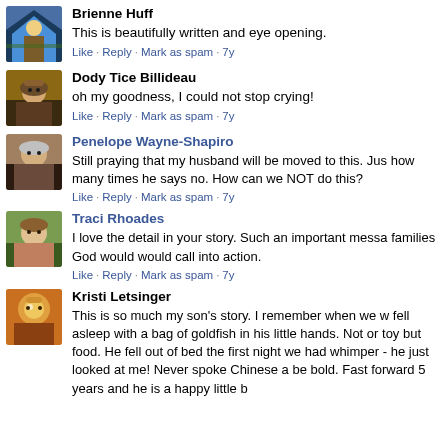[Figure (screenshot): Social media comment section with profile photos and user comments from Brienne Huff, Dody Tice Billideau, Penelope Wayne-Shapiro, Traci Rhoades, and Kristi Letsinger]
Brienne Huff
This is beautifully written and eye opening.
Like · Reply · Mark as spam · 7y
Dody Tice Billideau
oh my goodness, I could not stop crying!
Like · Reply · Mark as spam · 7y
Penelope Wayne-Shapiro
Still praying that my husband will be moved to this. Jus how many times he says no. How can we NOT do this?
Like · Reply · Mark as spam · 7y
Traci Rhoades
I love the detail in your story. Such an important messa families God would would call into action.
Like · Reply · Mark as spam · 7y
Kristi Letsinger
This is so much my son's story. I remember when we w fell asleep with a bag of goldfish in his little hands. Not or toy but food. He fell out of bed the first night we had whimper - he just looked at me! Never spoke Chinese a be bold. Fast forward 5 years and he is a happy little b